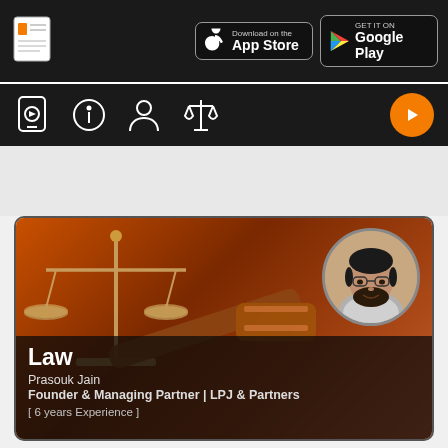[Figure (screenshot): App store download buttons: Download on the App Store and Get it on Google Play, with document/notes icon logo on the left, all on dark background]
[Figure (screenshot): Navigation bar with icons: mobile video, info, person/profile, filters/settings icons on left; orange play button on right; on dark background]
[Figure (photo): Law course card with dark orange/brown background showing scales of justice and gavel, circular profile photo of Prasouk Jain (man with beard and glasses) in top right, dark overlay at bottom with course title and instructor details]
Law
Prasouk Jain
Founder & Managing Partner | LPJ & Partners
[ 6 years Experience ]